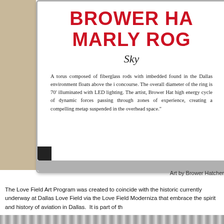[Figure (photo): Photo of a museum/gallery sign mounted on a stand. The sign has red bold text reading 'BROWER HA...' and 'MARLY ROG...' (partially cropped), italic text reading 'Sky', and a body paragraph describing a torus composed of fiberglass rods with imbedded LED lighting installed at Dallas Love Field concourse. A beige/tan wall is visible to the left of the sign.]
Art by Brower Hatcher
The Love Field Art Program was created to coincide with the historic currently underway at Dallas Love Field via the Love Field Moderniza that embrace the spirit and history of aviation in Dallas.  It is part of th